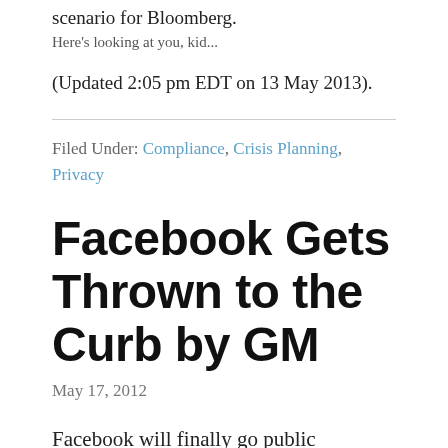scenario for Bloomberg.
[Figure (photo): Broken image placeholder with alt text: Here's looking at you, kid...]
(Updated 2:05 pm EDT on 13 May 2013).
Filed Under: Compliance, Crisis Planning, Privacy
Facebook Gets Thrown to the Curb by GM
May 17, 2012
Facebook will finally go public tomorrow, making many millionaires in the process. CEO and founder Mark Zuckerberg will reportedly